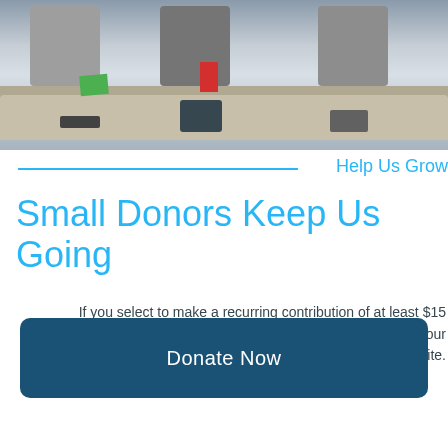[Figure (photo): Group of people sitting at a curved desk/table in what appears to be a classroom or meeting room, some holding books with red spines. A green folder/paper and a tablet are visible on the desk surface.]
Help Us Grow
Small Donors Keep Us Going
If you select to make a recurring contribution of at least $15 per month, you may select a thank-you gift. We thank our recurring donors on our website.
Donate Now